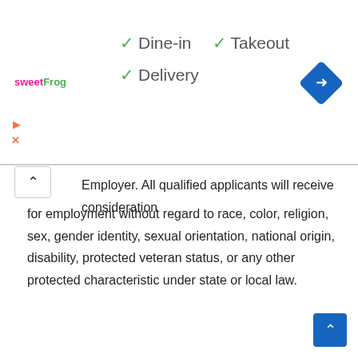[Figure (logo): sweetFrog logo text in pink and green]
✓ Dine-in  ✓ Takeout
✓ Delivery
[Figure (illustration): Blue diamond navigation icon with right arrow]
Employer. All qualified applicants will receive consideration for employment without regard to race, color, religion, sex, gender identity, sexual orientation, national origin, disability, protected veteran status, or any other protected characteristic under state or local law.
Apply for job
Share With Your Friends:
[Figure (infographic): Social media share buttons: WhatsApp, Facebook, Twitter, Pinterest, Print, LinkedIn, Reddit, Tumblr, Pocket, Telegram, Skype]